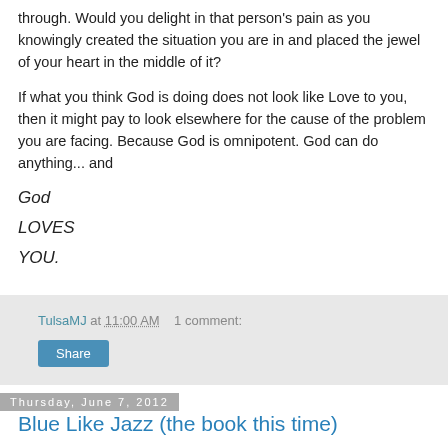through. Would you delight in that person's pain as you knowingly created the situation you are in and placed the jewel of your heart in the middle of it?
If what you think God is doing does not look like Love to you, then it might pay to look elsewhere for the cause of the problem you are facing. Because God is omnipotent. God can do anything... and
God
LOVES
YOU.
TulsaMJ at 11:00 AM   1 comment:
Share
Thursday, June 7, 2012
Blue Like Jazz (the book this time)